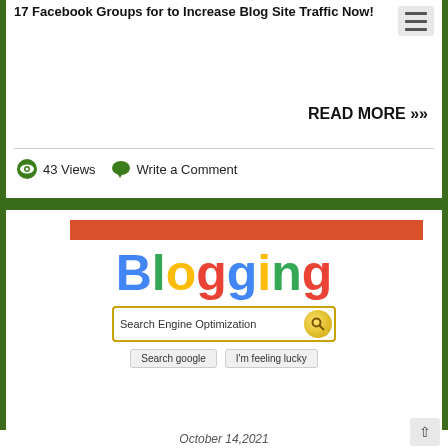17 Facebook Groups for to Increase Blog Site Traffic Now!
READ MORE »
43 Views   Write a Comment
[Figure (illustration): Blogging Search Engine Optimization graphic with Google-style colored 'Blogging' text, a search box reading 'Search Engine Optimization' with a gold magnifying glass button, and two buttons 'Search google' and 'I'm feeling lucky'. Above the graphic is an orange/red horizontal bar.]
October 14,2021